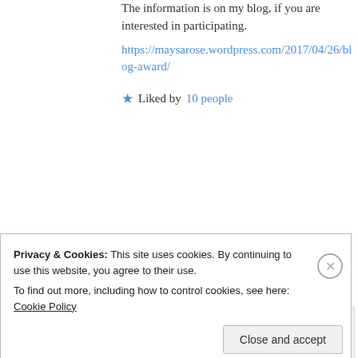The information is on my blog, if you are interested in participating.
https://maysarose.wordpress.com/2017/04/26/blog-award/
Liked by 10 people
Log in to Reply
Didis Art Design on 05/05/2017 at 13:00
👍 1 👎 0 ℹ Rate This
Privacy & Cookies: This site uses cookies. By continuing to use this website, you agree to their use.
To find out more, including how to control cookies, see here: Cookie Policy
Close and accept